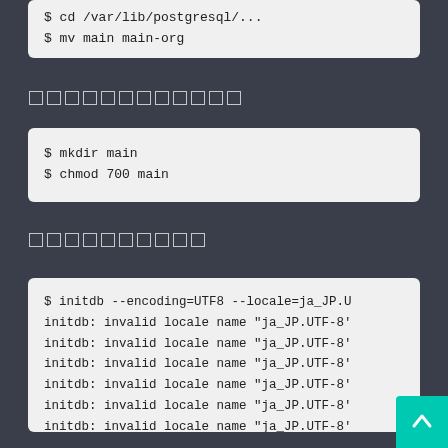$ cd /var/lib/postgresql/...
$ mv main main-org
ディレクトリ作成
$ mkdir main
$ chmod 700 main
データベース初期化
$ initdb --encoding=UTF8 --locale=ja_JP.U
initdb: invalid locale name "ja_JP.UTF-8'
initdb: invalid locale name "ja_JP.UTF-8'
initdb: invalid locale name "ja_JP.UTF-8'
initdb: invalid locale name "ja_JP.UTF-8'
initdb: invalid locale name "ja_JP.UTF-8'
initdb: invalid locale name "ja_JP.UTF-8'
The files belonging to this database syst
This user must also own the server proces

The database cluster will be initiali
The default text search configuration